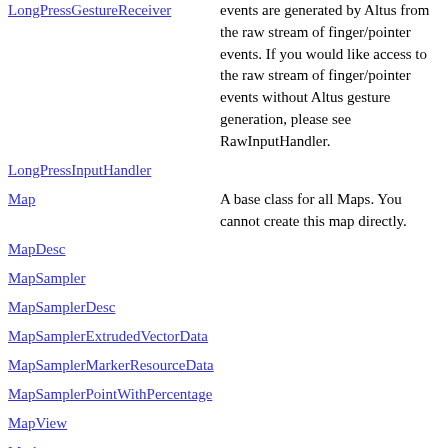LongPressGestureReceiver
events are generated by Altus from the raw stream of finger/pointer events. If you would like access to the raw stream of finger/pointer events without Altus gesture generation, please see RawInputHandler.
LongPressInputHandler
Map
A base class for all Maps. You cannot create this map directly.
MapDesc
MapSampler
MapSamplerDesc
MapSamplerExtrudedVectorData
MapSamplerMarkerResourceData
MapSamplerPointWithPercentage
MapView
Marker
MarkerData
The data required to create a marker.
MarkerHit
Information about a marker the